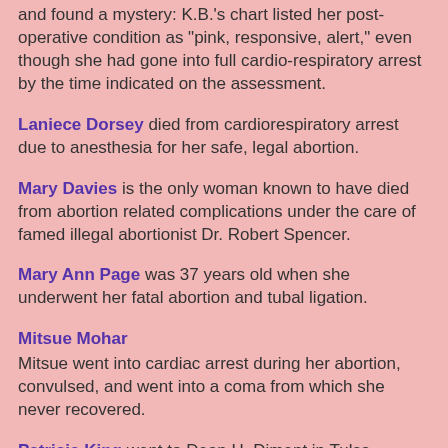and found a mystery: K.B.'s chart listed her post-operative condition as "pink, responsive, alert," even though she had gone into full cardio-respiratory arrest by the time indicated on the assessment.
Laniece Dorsey died from cardiorespiratory arrest due to anesthesia for her safe, legal abortion.
Mary Davies is the only woman known to have died from abortion related complications under the care of famed illegal abortionist Dr. Robert Spencer.
Mary Ann Page was 37 years old when she underwent her fatal abortion and tubal ligation.
Mitsue Mohar
Mitsue went into cardiac arrest during her abortion, convulsed, and went into a coma from which she never recovered.
Patricia King went to Dean H. Diment in Tulsa, Oklahoma, for an abortion on May 4, 1987. Patricia went into cardiac